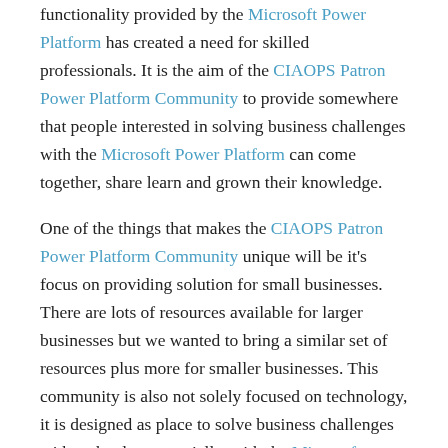functionality provided by the Microsoft Power Platform has created a need for skilled professionals. It is the aim of the CIAOPS Patron Power Platform Community to provide somewhere that people interested in solving business challenges with the Microsoft Power Platform can come together, share learn and grown their knowledge.

One of the things that makes the CIAOPS Patron Power Platform Community unique will be it's focus on providing solution for small businesses. There are lots of resources available for larger businesses but we wanted to bring a similar set of resources plus more for smaller businesses. This community is also not solely focused on technology, it is designed as place to solve business challenges with technology, specially, with the Microsoft Power Platform. This means you don't need to be a developer, and IT